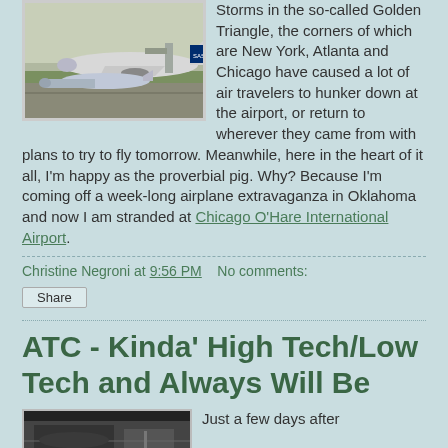[Figure (photo): Airplanes parked at airport gates on a tarmac, with an SAS airplane visible in the background.]
Storms in the so-called Golden Triangle, the corners of which are New York, Atlanta and Chicago have caused a lot of air travelers to hunker down at the airport, or return to wherever they came from with plans to try to fly tomorrow. Meanwhile, here in the heart of it all, I'm happy as the proverbial pig. Why? Because I'm coming off a week-long airplane extravaganza in Oklahoma and now I am stranded at Chicago O'Hare International Airport.
Christine Negroni at 9:56 PM    No comments:
Share
ATC - Kinda' High Tech/Low Tech and Always Will Be
[Figure (photo): Partial view of a photo at the bottom of the page, appears to be an aviation-related image.]
Just a few days after